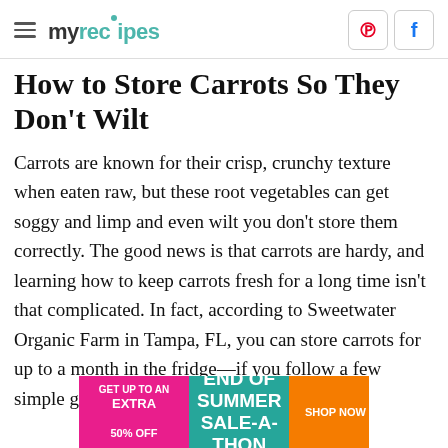myrecipes
How to Store Carrots So They Don't Wilt
Carrots are known for their crisp, crunchy texture when eaten raw, but these root vegetables can get soggy and limp and even wilt you don't store them correctly. The good news is that carrots are hardy, and learning how to keep carrots fresh for a long time isn't that complicated. In fact, according to Sweetwater Organic Farm in Tampa, FL, you can store carrots for up to a month in the fridge—if you follow a few simple guidelines.
[Figure (infographic): Advertisement banner: GET UP TO AN EXTRA 50% OFF | END OF SUMMER SALE-A-THON | SHOP NOW]